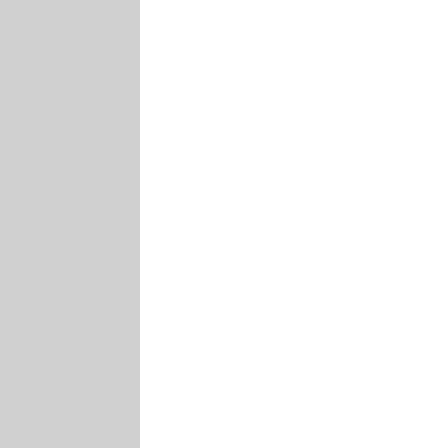RINOS as possible when they run for reup, and replace them with reps who have the nation's health as their primary goal. It'll take several elections fo cull the